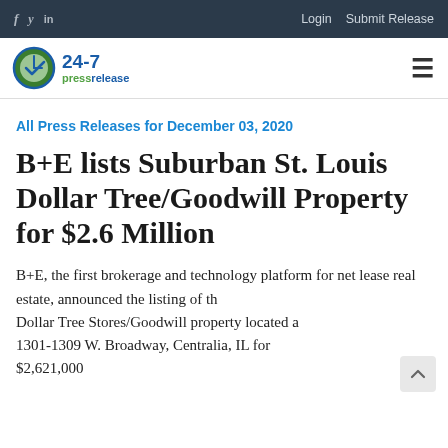f  y  in   Login  Submit Release
[Figure (logo): 24-7 pressrelease logo with green/blue circle icon]
All Press Releases for December 03, 2020
B+E lists Suburban St. Louis Dollar Tree/Goodwill Property for $2.6 Million
B+E, the first brokerage and technology platform for net lease real estate, announced the listing of the Dollar Tree Stores/Goodwill property located at 1301-1309 W. Broadway, Centralia, IL for $2,621,000